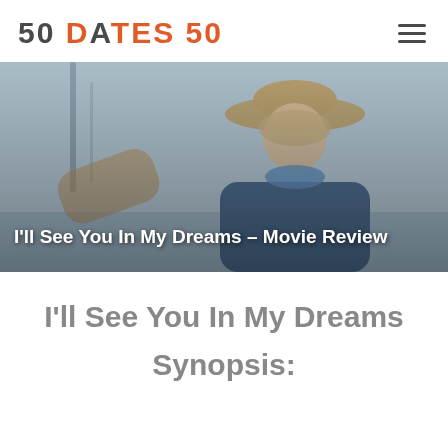50 DATES 50
[Figure (photo): A woman wearing a straw hat and blue scarf, sailing on a boat. She is smiling and looking to the side. The image is the hero banner for the movie review article.]
I'll See You In My Dreams – Movie Review
I'll See You In My Dreams Synopsis: